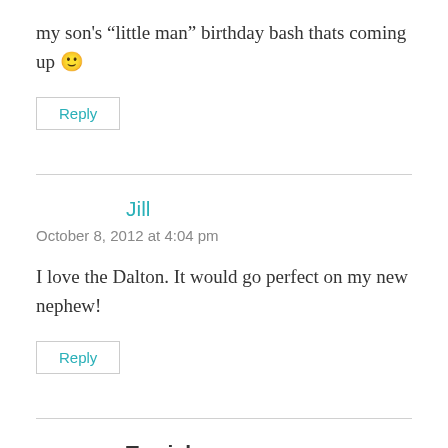my son's “little man” birthday bash thats coming up 🙂
Reply
Jill
October 8, 2012 at 4:04 pm
I love the Dalton. It would go perfect on my new nephew!
Reply
Tamicka